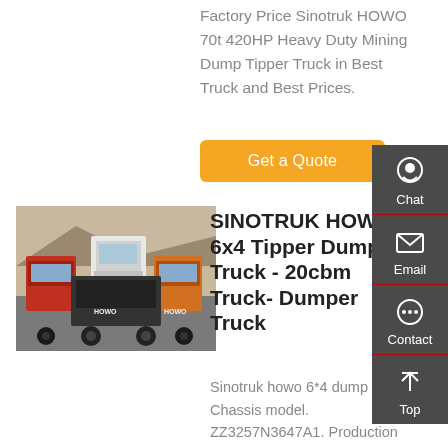Factory Price Sinotruk HOWO 70t 420HP Heavy Duty Mining Dump Tipper Truck in Best Truck and Best Prices.
[Figure (other): Orange 'Get a Quote' button]
[Figure (photo): Photo of multiple HOWO trucks parked in a lot, viewed from the rear, with mountains in background]
SINOTRUK HOWO 6x4 Tipper Dump Truck - 20cbm Truck- Dumper Truck
Sinotruk howo 6*4 dump truck Chassis model. ZZ3257N3647A1. Production year. 2021. new truck. Cabin